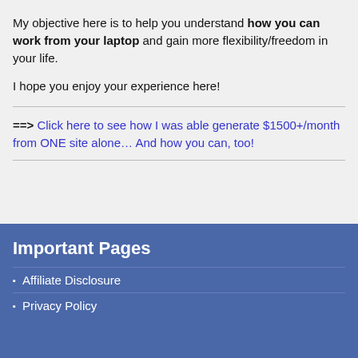My objective here is to help you understand how you can work from your laptop and gain more flexibility/freedom in your life.
I hope you enjoy your experience here!
==> Click here to see how I was able generate $1500+/month from ONE site alone… And how you can, too!
Important Pages
Affiliate Disclosure
Privacy Policy